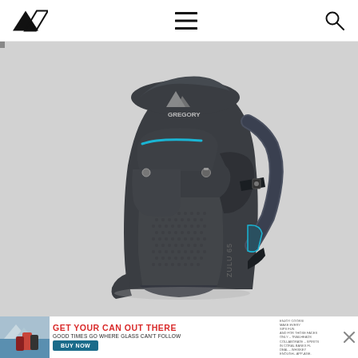Navigation bar with logo, hamburger menu, and search icon
[Figure (photo): Gregory Zulu 65 hiking backpack in dark charcoal/graphite color with cyan/teal accent zippers and straps, photographed against a light gray background. The backpack shows the front panel with multiple pockets, mesh back panel, shoulder straps visible on the right side, and the Gregory mountain logo and 'Zulu 65' text on the pack.]
[Figure (infographic): Advertisement banner: 'GET YOUR CAN OUT THERE - GOOD TIMES GO WHERE GLASS CAN'T FOLLOW' with a BUY NOW button and canned beverage product images on the left, small disclaimer text on the right, and a close (X) button.]